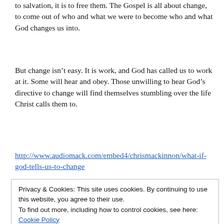to salvation, it is to free them. The Gospel is all about change, to come out of who and what we were to become who and what God changes us into.
But change isn't easy. It is work, and God has called us to work at it. Some will hear and obey. Those unwilling to hear God's directive to change will find themselves stumbling over the life Christ calls them to.
http://www.audiomack.com/embed4/chrismackinnon/what-if-god-tells-us-to-change
Privacy & Cookies: This site uses cookies. By continuing to use this website, you agree to their use.
To find out more, including how to control cookies, see here: Cookie Policy